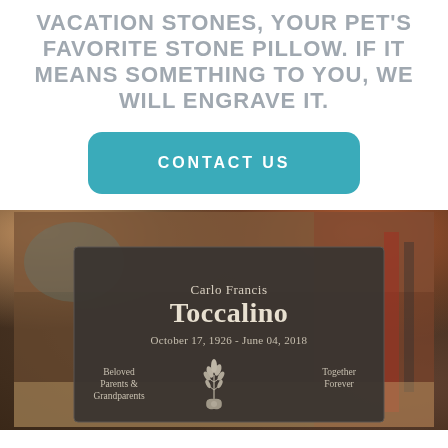VACATION STONES, YOUR PET'S FAVORITE STONE PILLOW. IF IT MEANS SOMETHING TO YOU, WE WILL ENGRAVE IT.
[Figure (other): A teal/blue rounded rectangle button labeled CONTACT US]
[Figure (photo): Photo of a dark granite memorial stone engraved with 'Carlo Francis Toccalino, October 17, 1926 - June 04, 2018, Beloved Parents & Grandparents, Together Forever' with a wheat/floral engraving motif, photographed in a workshop setting.]